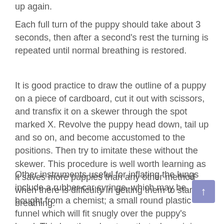up again.
Each full turn of the puppy should take about 3 seconds, then after a second's rest the turning is repeated until normal breathing is restored.
It is good practice to draw the outline of a puppy on a piece of cardboard, cut it out with scissors, and transfix it on a skewer through the spot marked X. Revolve the puppy head down, tail up and so on, and become accustomed to the positions. Then try to imitate these without the skewer. This procedure is well worth learning as it saves more puppies than any other method when there is difficulty in getting them to start breathing.
Other instruments useful for inflating the lungs include a rubber car syringe, which may be bought from a chemist; a small round plastic funnel which will fit snugly over the puppy's head. This has the advantage that when air is blown into the funnel, it travels down the puppy's nostrils